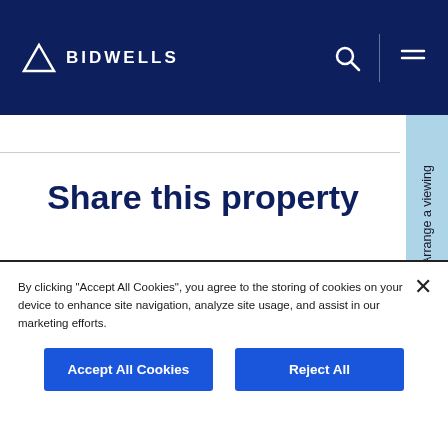BIDWELLS
Share this property
[Figure (other): Social sharing icons: LinkedIn, Twitter, Facebook, Email]
Arrange a viewing
By clicking "Accept All Cookies", you agree to the storing of cookies on your device to enhance site navigation, analyze site usage, and assist in our marketing efforts.
Accept All Cookies
Reject All